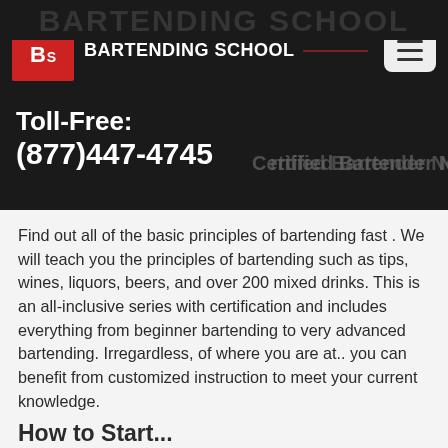BARTENDING SCHOOL
[Figure (logo): LBS red logo box with white letters L, B, S]
BARTENDING SCHOOL
Toll-Free:
(877)447-4745
Become a Certified Bartender Now
Find out all of the basic principles of bartending fast . We will teach you the principles of bartending such as tips, wines, liquors, beers, and over 200 mixed drinks. This is an all-inclusive series with certification and includes everything from beginner bartending to very advanced bartending. Irregardless, of where you are at.. you can benefit from customized instruction to meet your current knowledge.
How to Start...